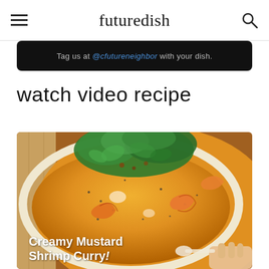futuredish
Tag us at @cfutureneighbor with your dish.
watch video recipe
[Figure (photo): Close-up photo of a white bowl containing Creamy Mustard Shrimp Curry with golden-orange curry sauce, shrimp, and fresh cilantro garnish on top, with a hand visible at the bottom right corner.]
Creamy Mustard Shrimp Curry!